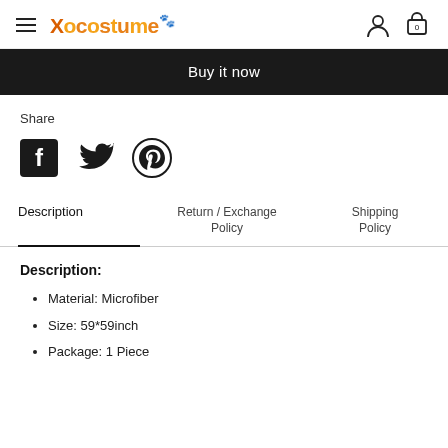Xocostume — hamburger menu, user icon, cart (0)
Buy it now
Share
[Figure (other): Social share icons: Facebook, Twitter, Pinterest]
Description | Return / Exchange Policy | Shipping Policy
Description:
Material: Microfiber
Size: 59*59inch
Package: 1 Piece